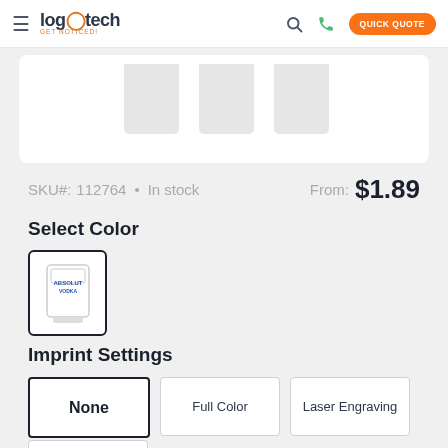[Figure (logo): Logotech GET NOTICED! logo with hamburger menu, search icon, phone icon, and Quick Quote button]
[Figure (photo): Product images of a glass tumbler shown from multiple angles, partially cropped]
SKU#: 112764 • In stock  From: $1.89
Select Color
[Figure (photo): Color swatch thumbnail showing a glass tumbler with ABSOLUT VODKA text, selected with dark border]
Imprint Settings
None  Full Color  Laser Engraving
Screen Print